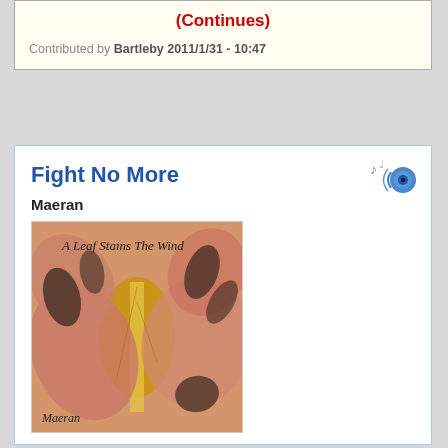(Continues)
Contributed by Bartleby 2011/1/31 - 10:47
Fight No More
Maeran
[Figure (photo): Album cover for 'A Leaf Stains The Wind' by Maeran. Shows autumn leaves in earthy orange/pink tones with dark brush-like marks. Text 'A Leaf Stains The Wind' in cursive at top, 'Maeran' at bottom left.]
[2008]
Album: A Leaf Stains The Wind